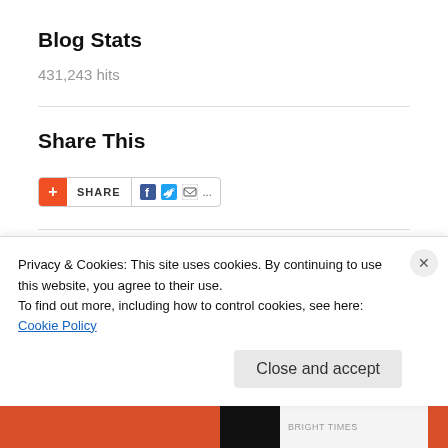Blog Stats
431,243 hits
Share This
[Figure (other): Share button widget with orange plus icon, SHARE label, Facebook, Twitter, email icons and ellipsis]
Recent Comments
jabsbo03 on She is not Less
Privacy & Cookies: This site uses cookies. By continuing to use this website, you agree to their use. To find out more, including how to control cookies, see here: Cookie Policy
Close and accept